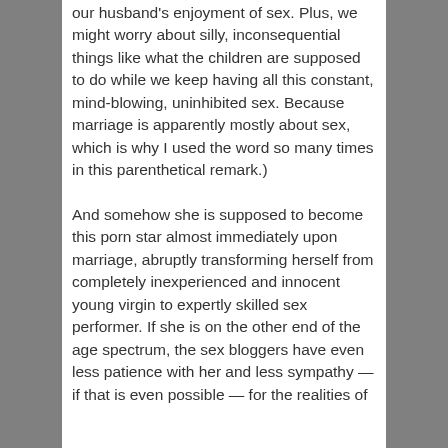our husband's enjoyment of sex. Plus, we might worry about silly, inconsequential things like what the children are supposed to do while we keep having all this constant, mind-blowing, uninhibited sex. Because marriage is apparently mostly about sex, which is why I used the word so many times in this parenthetical remark.)
And somehow she is supposed to become this porn star almost immediately upon marriage, abruptly transforming herself from completely inexperienced and innocent young virgin to expertly skilled sex performer. If she is on the other end of the age spectrum, the sex bloggers have even less patience with her and less sympathy — if that is even possible — for the realities of